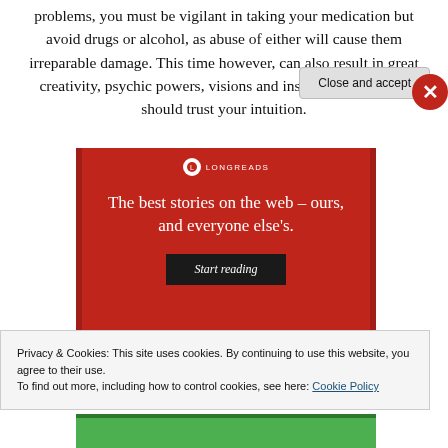problems, you must be vigilant in taking your medication but avoid drugs or alcohol, as abuse of either will cause them irreparable damage. This time however, can also result in great creativity, psychic powers, visions and insight. You can and should trust your intuition.
[Figure (screenshot): Advertisement banner on red background with white serif text: 'The best stories on the web – ours, and everyone else's.' with a 'Start reading' button on dark background. Has a Longreads-style logo at top.]
Privacy & Cookies: This site uses cookies. By continuing to use this website, you agree to their use.
To find out more, including how to control cookies, see here: Cookie Policy
Close and accept